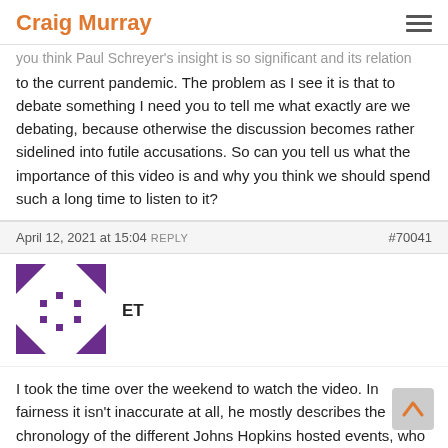Craig Murray
you think Paul Schreyer's insight is so significant and its relation to the current pandemic. The problem as I see it is that to debate something I need you to tell me what exactly are we debating, because otherwise the discussion becomes rather sidelined into futile accusations. So can you tell us what the importance of this video is and why you think we should spend such a long time to listen to it?
April 12, 2021 at 15:04 REPLY   #70041
[Figure (illustration): User avatar for ET - geometric purple pattern avatar]
ET
I took the time over the weekend to watch the video. In fairness it isn't inaccurate at all, he mostly describes the chronology of the different Johns Hopkins hosted events, who was present etc etc. I still maintain that if you are going to practise a disaster scenario